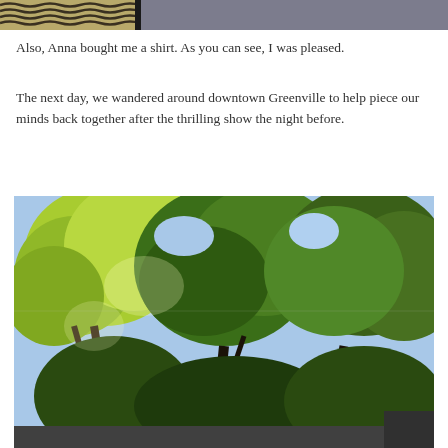[Figure (photo): Partial top of previous photo showing a patterned shirt and a person in the background]
Also, Anna bought me a shirt. As you can see, I was pleased.
The next day, we wandered around downtown Greenville to help piece our minds back together after the thrilling show the night before.
[Figure (photo): Outdoor photo looking up at tall green leafy trees against a bright sky, with sunlight filtering through the canopy, taken in downtown Greenville]